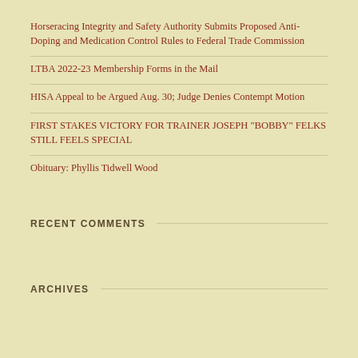Horseracing Integrity and Safety Authority Submits Proposed Anti-Doping and Medication Control Rules to Federal Trade Commission
LTBA 2022-23 Membership Forms in the Mail
HISA Appeal to be Argued Aug. 30; Judge Denies Contempt Motion
FIRST STAKES VICTORY FOR TRAINER JOSEPH “BOBBY” FELKS STILL FEELS SPECIAL
Obituary: Phyllis Tidwell Wood
RECENT COMMENTS
ARCHIVES